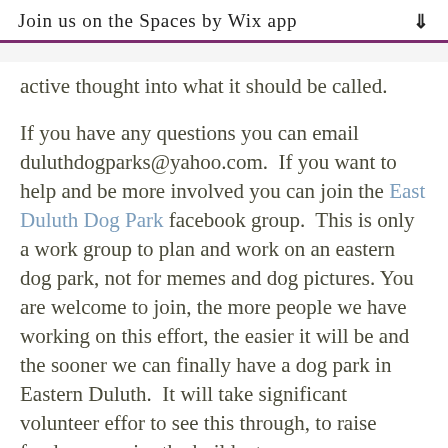Join us on the Spaces by Wix app
active thought into what it should be called.
If you have any questions you can email duluthdogparks@yahoo.com.  If you want to help and be more involved you can join the East Duluth Dog Park facebook group.  This is only a work group to plan and work on an eastern dog park, not for memes and dog pictures. You are welcome to join, the more people we have working on this effort, the easier it will be and the sooner we can finally have a dog park in Eastern Duluth.  It will take significant volunteer effor to see this through, to raise funds, supervise the build, etc,